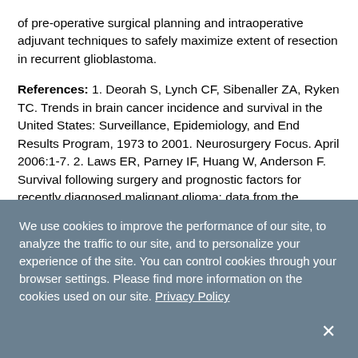of pre-operative surgical planning and intraoperative adjuvant techniques to safely maximize extent of resection in recurrent glioblastoma.
References: 1. Deorah S, Lynch CF, Sibenaller ZA, Ryken TC. Trends in brain cancer incidence and survival in the United States: Surveillance, Epidemiology, and End Results Program, 1973 to 2001. Neurosurgery Focus. April 2006:1-7. 2. Laws ER, Parney IF, Huang W, Anderson F. Survival following surgery and prognostic factors for recently diagnosed malignant glioma: data from the Glioma Outcomes Project. Journal of Neurosurgery. 2003;99:467-473. 3. Stupp R, Mason WP, van den Bent MJ, Weller M.
We use cookies to improve the performance of our site, to analyze the traffic to our site, and to personalize your experience of the site. You can control cookies through your browser settings. Please find more information on the cookies used on our site. Privacy Policy